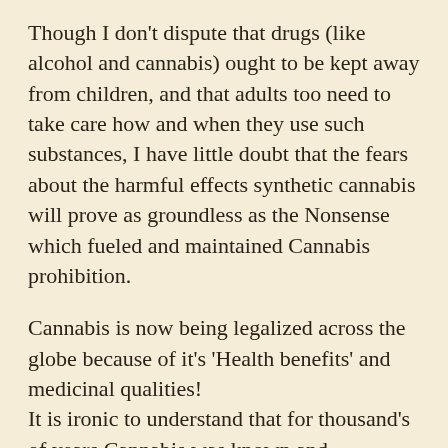Though I don't dispute that drugs (like alcohol and cannabis) ought to be kept away from children, and that adults too need to take care how and when they use such substances, I have little doubt that the fears about the harmful effects synthetic cannabis will prove as groundless as the Nonsense which fueled and maintained Cannabis prohibition.

Cannabis is now being legalized across the globe because of it's 'Health benefits' and medicinal qualities!
It is ironic to understand that for thousand's of years Cannabis was known and appreciated for it's manifold beneficial qualities, and that the folly of prohibition of cannabis is itself a *modern phobia*... thankfully this terrible era of prohibition is coming to a close.
It is interesting to consider the fact that if we